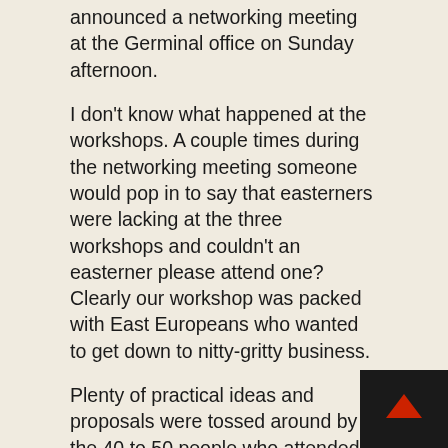announced a networking meeting at the Germinal office on Sunday afternoon.
I don't know what happened at the workshops. A couple times during the networking meeting someone would pop in to say that easterners were lacking at the three workshops and couldn't an easterner please attend one? Clearly our workshop was packed with East Europeans who wanted to get down to nitty-gritty business.
Plenty of practical ideas and proposals were tossed around by the 40 to 50 people who attended, including a computer network, an activist bulletin (similar to On Gogol Boulevard), international camping, support for miners' strikes in the USSR, a solidarity statement for the April 23 Earth Day protest on Wall Street. prisoner support, a simultaneous day of action, an emergency response network/phone tree, and the coordination of sending money, books, printing supplies. computers and other items to the East. (Many easterners need